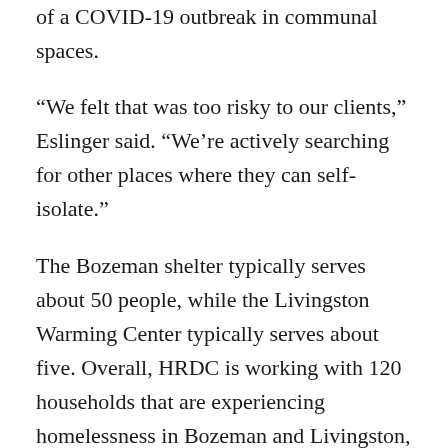of a COVID-19 outbreak in communal spaces.
“We felt that was too risky to our clients,” Eslinger said. “We’re actively searching for other places where they can self-isolate.”
The Bozeman shelter typically serves about 50 people, while the Livingston Warming Center typically serves about five. Overall, HRDC is working with 120 households that are experiencing homelessness in Bozeman and Livingston, said HRDC Bozeman CEO and President Heather Grenier.
HRDC has attempted to place homeless people in hotels, but the hotels keep canceling the